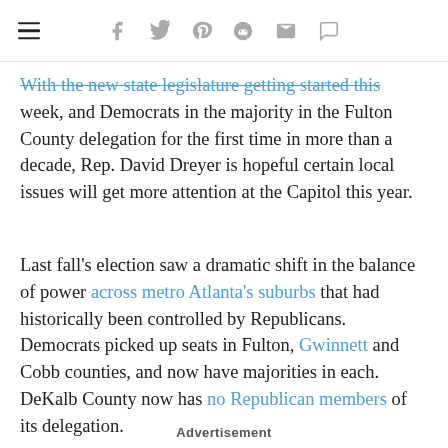≡  f  𝕥  p  reddit  ✉  ✉
With the new state legislature getting started this week, and Democrats in the majority in the Fulton County delegation for the first time in more than a decade, Rep. David Dreyer is hopeful certain local issues will get more attention at the Capitol this year.
Last fall's election saw a dramatic shift in the balance of power across metro Atlanta's suburbs that had historically been controlled by Republicans. Democrats picked up seats in Fulton, Gwinnett and Cobb counties, and now have majorities in each. DeKalb County now has no Republican members of its delegation.
Advertisement